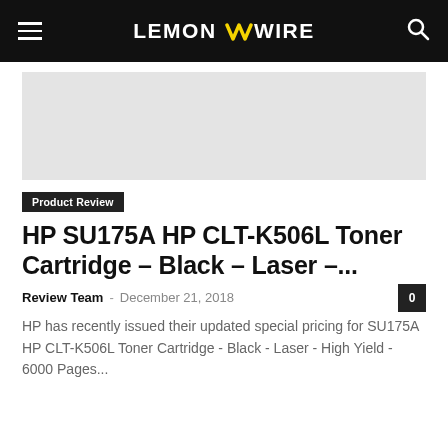LEMON ZZ WIRE
[Figure (other): Gray placeholder/ad area]
Product Review
HP SU175A HP CLT-K506L Toner Cartridge – Black – Laser –...
Review Team - December 21, 2018
HP has recently issued their updated special pricing for SU175A HP CLT-K506L Toner Cartridge - Black - Laser - High Yield - 6000 Pages...